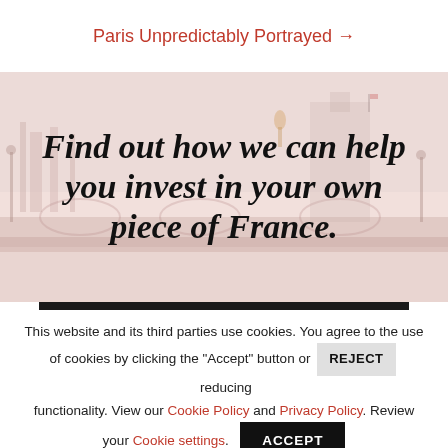Paris Unpredictably Portrayed →
[Figure (photo): Faded background photo of Paris landmarks including a bridge and golden statue, with large bold italic text overlay reading 'Find out how we can help you invest in your own piece of France.']
This website and its third parties use cookies. You agree to the use of cookies by clicking the "Accept" button or REJECT reducing functionality. View our Cookie Policy and Privacy Policy. Review your Cookie settings.